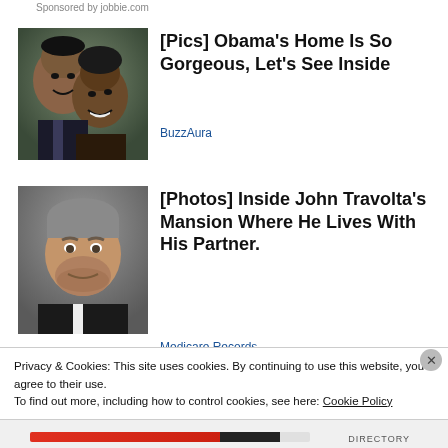Sponsored by jobbie.com
[Figure (photo): Photo of Barack and Michelle Obama smiling together]
[Pics] Obama's Home Is So Gorgeous, Let's See Inside
BuzzAura
[Figure (photo): Photo of John Travolta, middle-aged man with grey stubble]
[Photos] Inside John Travolta's Mansion Where He Lives With His Partner.
Medicare Records
Privacy & Cookies: This site uses cookies. By continuing to use this website, you agree to their use.
To find out more, including how to control cookies, see here: Cookie Policy
Close and accept